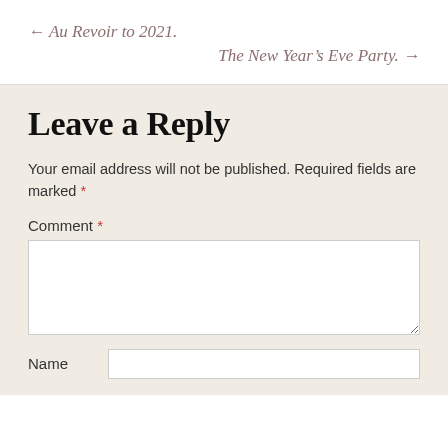← Au Revoir to 2021.
The New Year's Eve Party. →
Leave a Reply
Your email address will not be published. Required fields are marked *
Comment *
Name